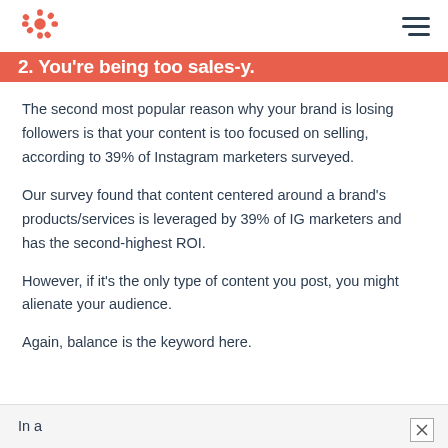HubSpot logo and navigation menu
2. You're being too sales-y.
The second most popular reason why your brand is losing followers is that your content is too focused on selling, according to 39% of Instagram marketers surveyed.
Our survey found that content centered around a brand's products/services is leveraged by 39% of IG marketers and has the second-highest ROI.
However, if it's the only type of content you post, you might alienate your audience.
Again, balance is the keyword here.
In a